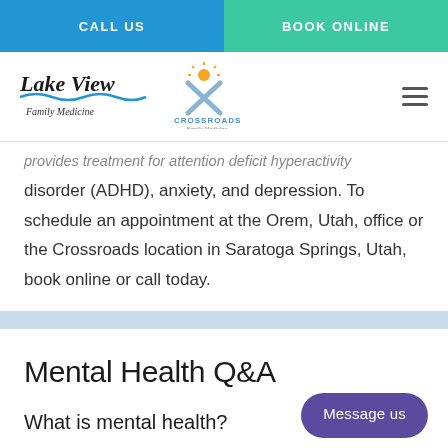CALL US | BOOK ONLINE
[Figure (logo): Lake View Family Medicine and Crossroads Family Medicine logos with hamburger menu icon]
...provides treatment for attention deficit hyperactivity disorder (ADHD), anxiety, and depression. To schedule an appointment at the Orem, Utah, office or the Crossroads location in Saratoga Springs, Utah, book online or call today.
Mental Health Q&A
What is mental health?